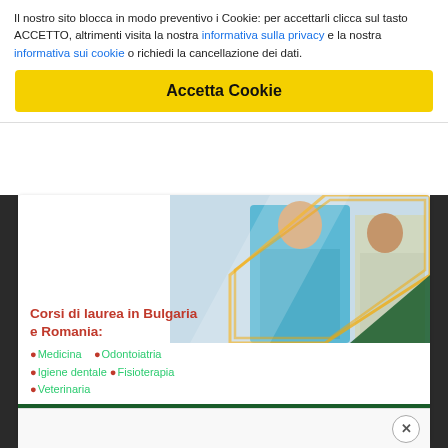Il nostro sito blocca in modo preventivo i Cookie: per accettarli clicca sul tasto ACCETTO, altrimenti visita la nostra informativa sulla privacy e la nostra informativa sui cookie o richiedi la cancellazione dei dati.
Accetta Cookie
[Figure (infographic): Advertisement for university courses in Bulgaria and Romania. Shows medical students in blue scrubs. Lists courses: Medicina, Odontoiatria, Igiene dentale, Fisioterapia, Veterinaria. Enrollment deadline 30 settembre. Phone: 0965617943. Website: www.universitaromania.eu. Green and yellow color scheme with diamond shapes.]